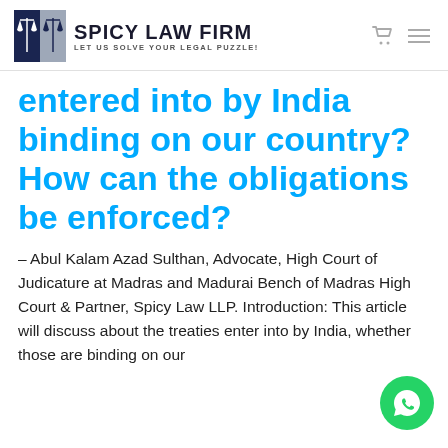SPICY LAW FIRM — LET US SOLVE YOUR LEGAL PUZZLE!
entered into by India binding on our country? How can the obligations be enforced?
– Abul Kalam Azad Sulthan, Advocate, High Court of Judicature at Madras and Madurai Bench of Madras High Court & Partner, Spicy Law LLP. Introduction: This article will discuss about the treaties entered into by India, whether those are binding on our